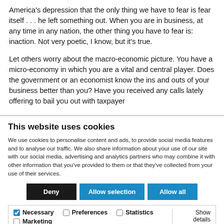America's depression that the only thing we have to fear is fear itself . . . he left something out. When you are in business, at any time in any nation, the other thing you have to fear is: inaction. Not very poetic, I know, but it's true.
Let others worry about the macro-economic picture. You have a micro-economy in which you are a vital and central player. Does the government or an economist know the ins and outs of your business better than you? Have you received any calls lately offering to bail you out with taxpayer
This website uses cookies
We use cookies to personalise content and ads, to provide social media features and to analyse our traffic. We also share information about your use of our site with our social media, advertising and analytics partners who may combine it with other information that you've provided to them or that they've collected from your use of their services.
Deny | Allow selection | Allow all
Necessary | Preferences | Statistics | Marketing | Show details